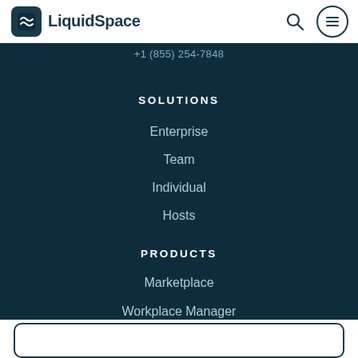LiquidSpace
+1 (855) 254-7848
SOLUTIONS
Enterprise
Team
Individual
Hosts
PRODUCTS
Marketplace
Workplace Manager
Venue Manager